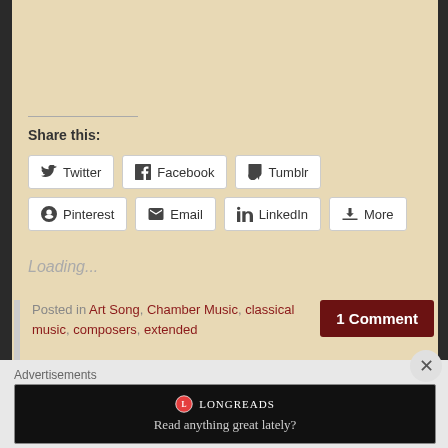Share this:
Twitter Facebook Tumblr Pinterest Email LinkedIn More
Loading...
Posted in Art Song, Chamber Music, classical music, composers, extended
1 Comment
Advertisements
[Figure (logo): Longreads logo with text 'Read anything great lately?']